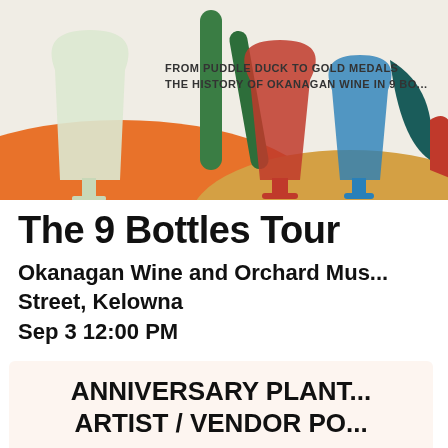[Figure (illustration): Colorful illustrated banner showing wine glasses and abstract shapes in orange, green, teal, red colors. Text partially visible: 'FROM PUDDLE DUCK TO GOLD MEDALS THE HISTORY OF OKANAGAN WINE IN 9 BO...']
The 9 Bottles Tour
Okanagan Wine and Orchard Museum ... Street, Kelowna
Sep 3 12:00 PM
ANNIVERSARY PLANT...
ARTIST / VENDOR PO...
FEATURING